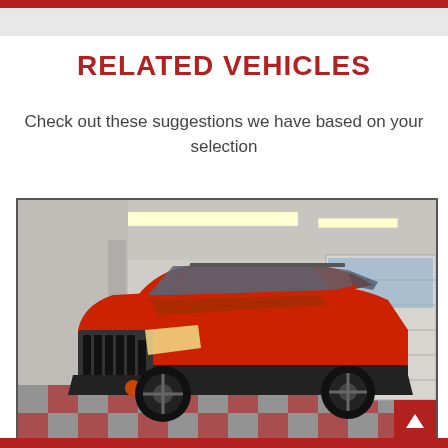RELATED VEHICLES
Check out these suggestions we have based on your selection
[Figure (photo): Red Jeep Cherokee Trailhawk SUV parked inside a garage/showroom with checkered floor tiles and fluorescent ceiling lights. The vehicle is facing front-left, showing its distinctive seven-slot grille and aggressive off-road styling.]